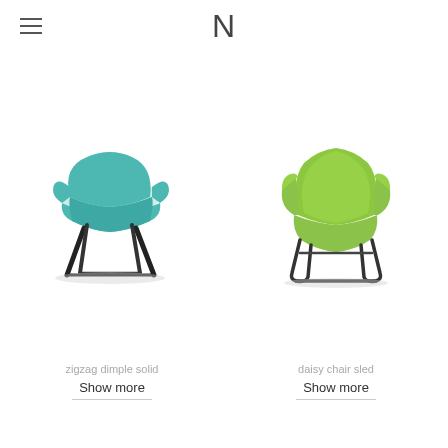N
[Figure (illustration): Teal/turquoise chair with curved seat shell and dark wooden splayed legs (zigzag dimple solid)]
zigzag dimple solid
Show more
[Figure (illustration): Green armchair with rounded cushioned seat and arms on dark metal sled base (daisy chair sled)]
daisy chair sled
Show more